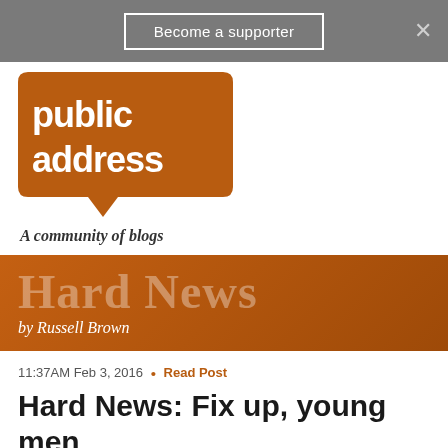Become a supporter
[Figure (logo): Public Address logo — orange speech bubble with 'public address' text, 'A community of blogs' tagline]
[Figure (illustration): Hard News banner — orange gradient background with 'Hard News' large text and 'by Russell Brown' byline]
11:37AM Feb 3, 2016 • Read Post
Hard News: Fix up, young men
379 RESPONSES
Subscribe by
← Older  1  2  3 4 5 … 16  Newer →